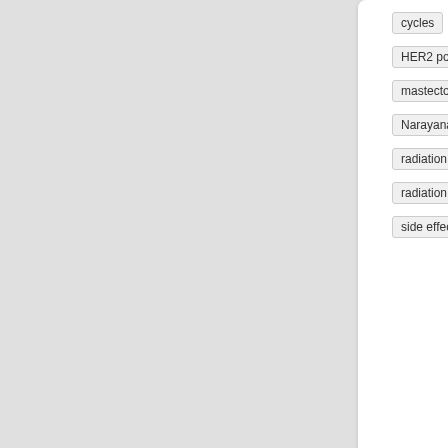cycles
HER2 positive br
mastectomy
Narayana Health
radiation burns
radiation therap
side effects
[Figure (photo): Video thumbnail showing a person in white coat against blue branded background with Narayana Health logo]
view in full page
8 years, 7 months ago
[Figure (photo): Portrait photo of Malcolm Mason, scientist in white lab coat in laboratory setting]
What research is radiolabelled an
MALCOLM MASON
Directory:
RADIOTHERAPY
Tags:
ACORRN
[Figure (photo): Partial image with warm tan/orange background]